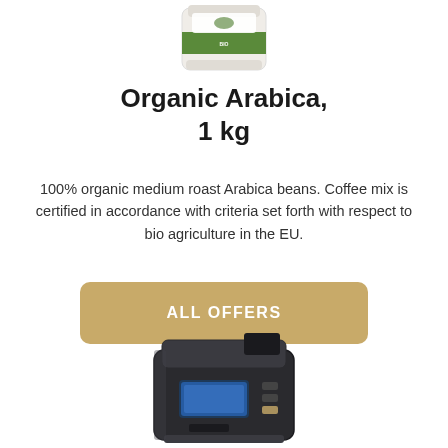[Figure (photo): Organic Arabica coffee bag product photo, white bag with green label]
Organic Arabica, 1 kg
100% organic medium roast Arabica beans. Coffee mix is certified in accordance with criteria set forth with respect to bio agriculture in the EU.
ALL OFFERS
[Figure (photo): Professional automatic coffee machine, dark metallic color with blue display screen]